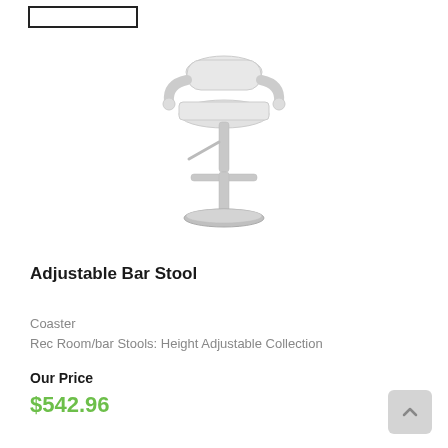[Figure (photo): White adjustable bar stool with cushioned seat and back, chrome pedestal base and footrest]
Adjustable Bar Stool
Coaster
Rec Room/bar Stools: Height Adjustable Collection
Our Price
$542.96